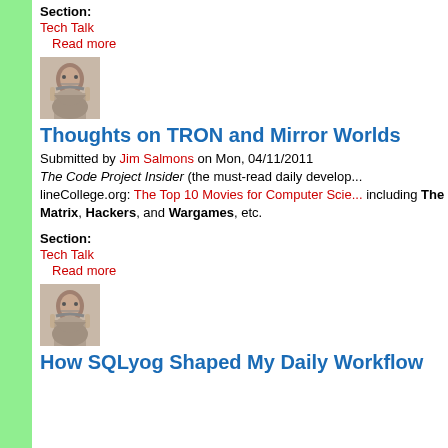Section:
Tech Talk
Read more
[Figure (photo): Headshot of Jim Salmons, a bearded man with glasses]
Thoughts on TRON and Mirror Worlds
Submitted by Jim Salmons on Mon, 04/11/2011
The Code Project Insider (the must-read daily develop... lineCollege.org: The Top 10 Movies for Computer Scie... including The Matrix, Hackers, and Wargames, etc.
Section:
Tech Talk
Read more
[Figure (photo): Headshot of Jim Salmons, a bearded man with glasses]
How SQLyog Shaped My Daily Workflow